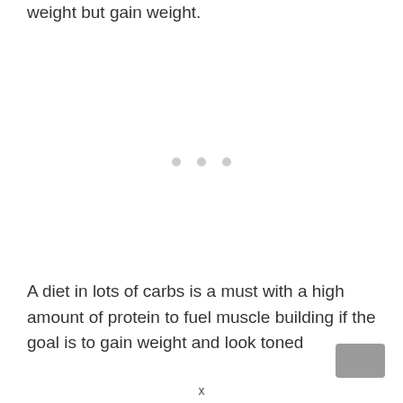weight but gain weight.
[Figure (other): Three small grey dots indicating a loading or pagination indicator in the center of the page]
A diet in lots of carbs is a must with a high amount of protein to fuel muscle building if the goal is to gain weight and look toned
x